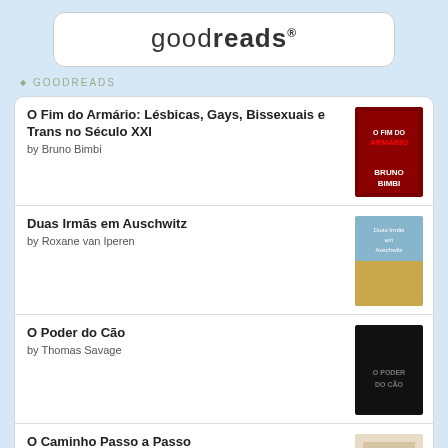[Figure (logo): Goodreads logo in a rounded white box]
GOODREADS
O Fim do Armário: Lésbicas, Gays, Bissexuais e Trans no Século XXI by Bruno Bimbi
Duas Irmãs em Auschwitz by Roxane van Iperen
O Poder do Cão by Thomas Savage
O Caminho Passo a Passo by Elisabete Bárbara – Neste livro a autora explica-nos que por mais que o caminho possa ser difícil, devemos sempre lutar, lutar e lutar para que tudo o que desejámos se concretize.
O Diário da Nossa Paixão